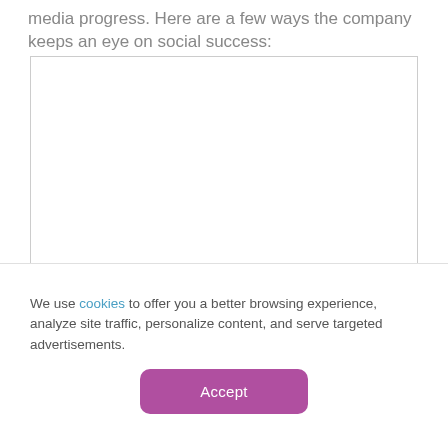media progress. Here are a few ways the company keeps an eye on social success:
[Figure (other): Empty white box with light grey border, representing a content placeholder image area]
We use cookies to offer you a better browsing experience, analyze site traffic, personalize content, and serve targeted advertisements.
Accept